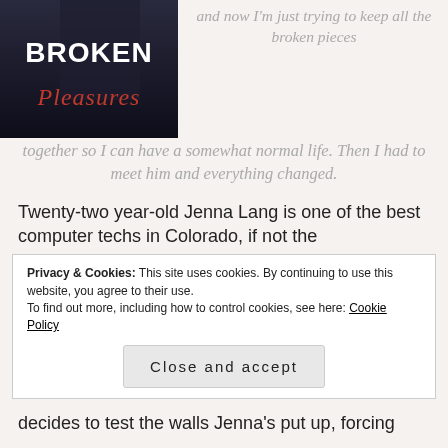[Figure (photo): Book cover for 'Broken Pleasures' showing dark background with bold white text 'BROKEN' and red cursive text 'Pleasures']
and now I'm just trying to keep all the broken pieces together so I can have a somewhat normal life. Then I had to meet him and everything changed.
Twenty-two year-old Jenna Lang is one of the best computer techs in Colorado, if not the
Privacy & Cookies: This site uses cookies. By continuing to use this website, you agree to their use.
To find out more, including how to control cookies, see here: Cookie Policy
Close and accept
decides to test the walls Jenna's put up, forcing